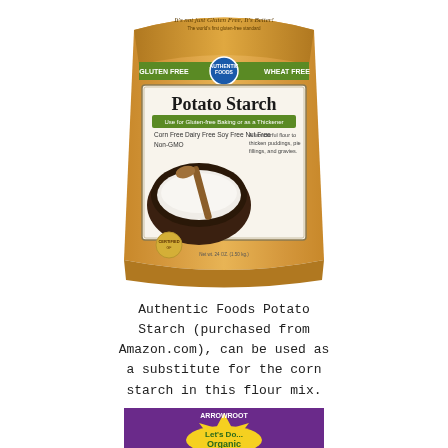[Figure (photo): Authentic Foods Potato Starch bag - gold/tan colored bag with green and blue label. Shows 'GLUTEN FREE' and 'WHEAT FREE' text, 'Potato Starch' as main product name, 'Use for Gluten-free Baking or as a Thickener', 'Corn Free Dairy Free Soy Free Nut Free Non-GMO', image of white powder in dark bowl with wooden spoon.]
Authentic Foods Potato Starch (purchased from Amazon.com), can be used as a substitute for the corn starch in this flour mix.
[Figure (photo): Bottom portion of another product box - purple and yellow with 'Let's Do...Organic' logo, partially visible at bottom of page.]